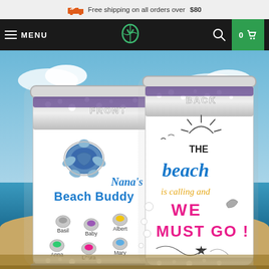Free shipping on all orders over $80
[Figure (screenshot): E-commerce website header with hamburger menu (MENU), logo, search icon, and shopping cart (0)]
[Figure (photo): Personalized beach tumbler product image showing FRONT and BACK. Front: turtle graphic, 'Nana's Beach Buddy' text, turtle charms labeled Basil, Baby, Albert, Anna, Laura, Mary. Back: 'THE beach is calling and WE MUST GO!' with sun, birds, shell, starfish illustrations. Background is a beach scene with blue sky, ocean.]